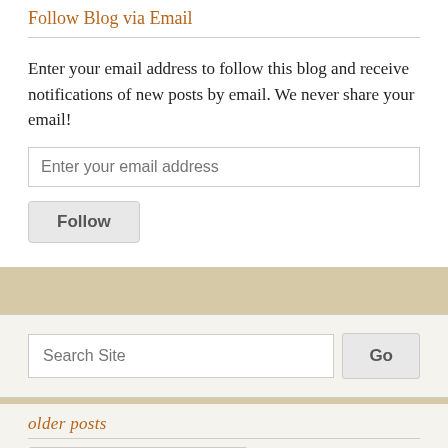Follow Blog via Email
Enter your email address to follow this blog and receive notifications of new posts by email. We never share your email!
[Figure (screenshot): Email input field with placeholder text 'Enter your email address']
[Figure (screenshot): Follow button]
[Figure (screenshot): Search Site input field with Go button]
older posts
[Figure (screenshot): Select Month dropdown]